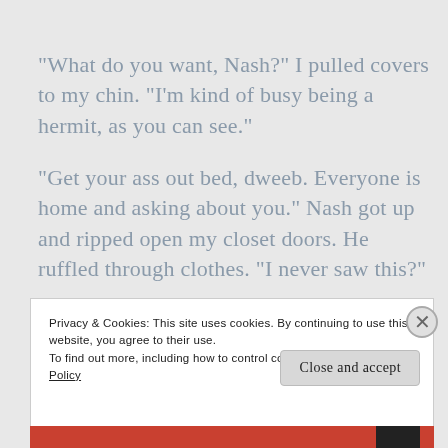“What do you want, Nash?” I pulled covers to my chin. “I’m kind of busy being a hermit, as you can see.”
“Get your ass out bed, dweeb. Everyone is home and asking about you.” Nash got up and ripped open my closet doors. He ruffled through clothes. “I never saw this?”
Privacy & Cookies: This site uses cookies. By continuing to use this website, you agree to their use.
To find out more, including how to control cookies, see here: Cookie Policy